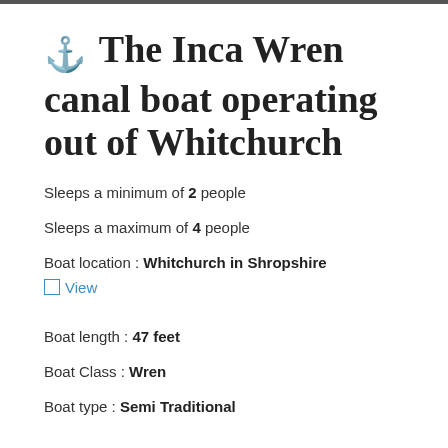⚓ The Inca Wren canal boat operating out of Whitchurch
Sleeps a minimum of 2 people
Sleeps a maximum of 4 people
Boat location : Whitchurch in Shropshire
View
Boat length : 47 feet
Boat Class : Wren
Boat type : Semi Traditional